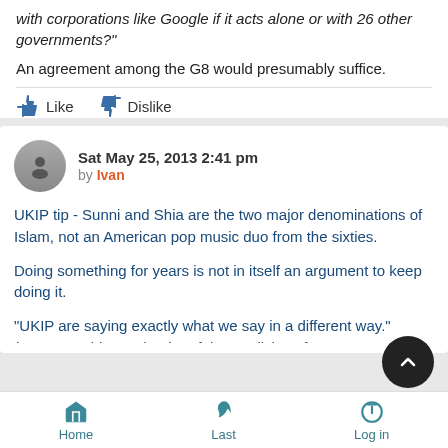with corporations like Google if it acts alone or with 26 other governments?"
An agreement among the G8 would presumably suffice.
Sat May 25, 2013 2:41 pm by Ivan
UKIP tip - Sunni and Shia are the two major denominations of Islam, not an American pop music duo from the sixties.
Doing something for years is not in itself an argument to keep doing it.
"UKIP are saying exactly what we say in a different way." (Tommy Robinson, leader of the English Defence League)